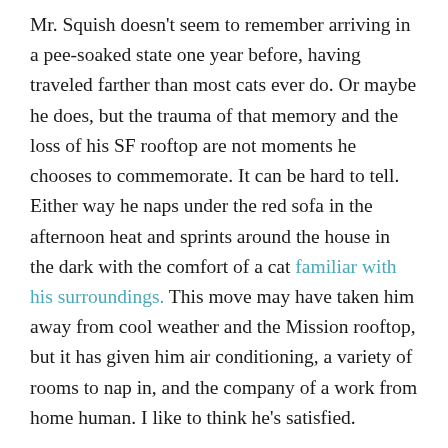Mr. Squish doesn't seem to remember arriving in a pee-soaked state one year before, having traveled farther than most cats ever do. Or maybe he does, but the trauma of that memory and the loss of his SF rooftop are not moments he chooses to commemorate. It can be hard to tell. Either way he naps under the red sofa in the afternoon heat and sprints around the house in the dark with the comfort of a cat familiar with his surroundings. This move may have taken him away from cool weather and the Mission rooftop, but it has given him air conditioning, a variety of rooms to nap in, and the company of a work from home human. I like to think he's satisfied.
As for the humans, our memories are as fragile as ever. I remember biking home from long days at the office in SF, up hill into the wind, and wondering where we would live next, and how long it would take to get there. A year later I can answer the question, but not remember the urgency.